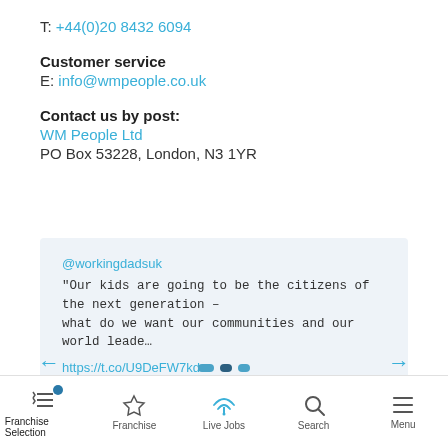T: +44(0)20 8432 6094
Customer service
E: info@wmpeople.co.uk
Contact us by post:
WM People Ltd
PO Box 53228, London, N3 1YR
@workingdadsuk
"Our kids are going to be the citizens of the next generation – what do we want our communities and our world leade…
https://t.co/U9DeFW7kdo
Aug 31st
Franchise Selection | Franchise | Live Jobs | Search | Menu